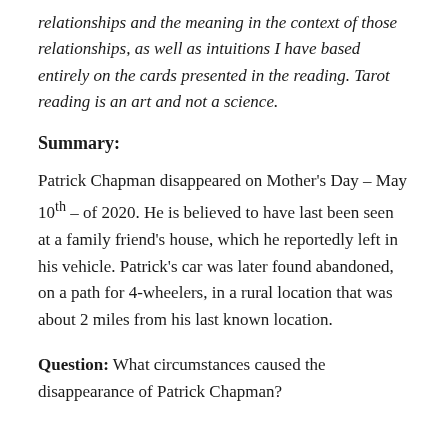relationships and the meaning in the context of those relationships, as well as intuitions I have based entirely on the cards presented in the reading. Tarot reading is an art and not a science.
Summary:
Patrick Chapman disappeared on Mother's Day – May 10th – of 2020. He is believed to have last been seen at a family friend's house, which he reportedly left in his vehicle. Patrick's car was later found abandoned, on a path for 4-wheelers, in a rural location that was about 2 miles from his last known location.
Question: What circumstances caused the disappearance of Patrick Chapman?